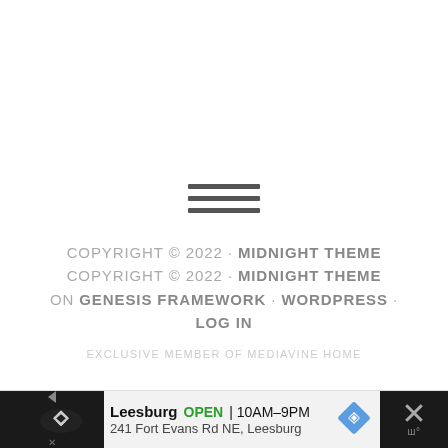[Figure (other): Hamburger menu icon — three horizontal dark gray bars]
COPYRIGHT © 2022 · MIDNIGHT THEME
COPYRIGHT © 2022 · MIDNIGHT THEME
ON GENESIS FRAMEWORK · WORDPRESS ·
LOG IN
EXCLUSIVE MEMBER OF MEDIAVINE HOME
[Figure (other): Advertisement bar: Leesburg OPEN 10AM–9PM, 241 Fort Evans Rd NE, Leesburg]